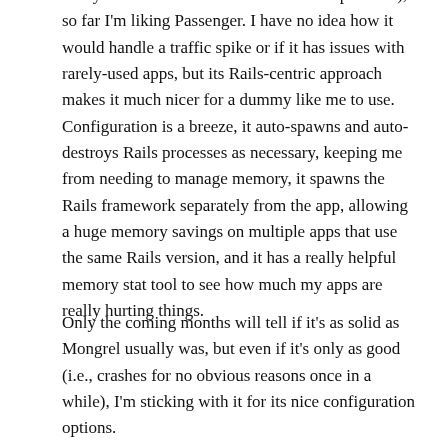to my almost nonexistent linux admin experience), so far I'm liking Passenger. I have no idea how it would handle a traffic spike or if it has issues with rarely-used apps, but its Rails-centric approach makes it much nicer for a dummy like me to use. Configuration is a breeze, it auto-spawns and auto-destroys Rails processes as necessary, keeping me from needing to manage memory, it spawns the Rails framework separately from the app, allowing a huge memory savings on multiple apps that use the same Rails version, and it has a really helpful memory stat tool to see how much my apps are really hurting things.
Only the coming months will tell if it's as solid as Mongrel usually was, but even if it's only as good (i.e., crashes for no obvious reasons once in a while), I'm sticking with it for its nice configuration options.